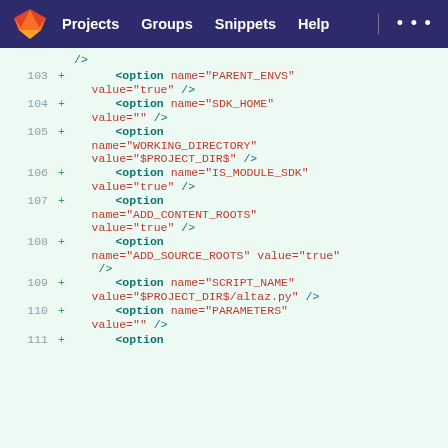GitLab — Projects  Groups  Snippets  Help
[Figure (screenshot): GitLab diff view showing XML code lines 103-111, with added lines (+) showing option elements with attributes PARENT_ENVS, SDK_HOME, WORKING_DIRECTORY, IS_MODULE_SDK, ADD_CONTENT_ROOTS, ADD_SOURCE_ROOTS, SCRIPT_NAME, PARAMETERS]